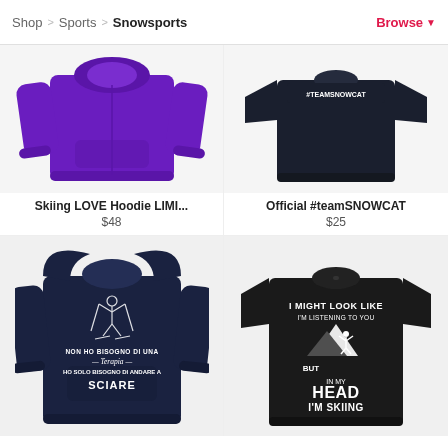Shop > Sports > Snowsports    Browse
[Figure (photo): Purple hoodie sweatshirt product photo]
Skiing LOVE Hoodie LIMI...
$48
[Figure (photo): Navy t-shirt with #TEAMSNOWCAT text product photo]
Official #teamSNOWCAT
$25
[Figure (photo): Navy hoodie with Italian text NON HO BISOGNO DI UNA TERAPIA HO SOLO BISOGNO DI ANDARE A SCIARE]
[Figure (photo): Black t-shirt with text I MIGHT LOOK LIKE I'M LISTENING TO YOU BUT IN MY HEAD I'M SKIING]